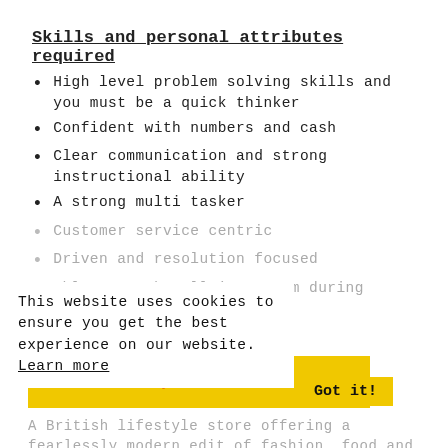Skills and personal attributes required
High level problem solving skills and you must be a quick thinker
Confident with numbers and cash
Clear communication and strong instructional ability
A strong multi tasker
Customer service centric
Driven and resolution focused
Able to work well in a team during pressurised situations
This website uses cookies to ensure you get the best experience on our website. Learn more
We are Harvey Nichols.
A British lifestyle store offering a fearlessly modern edit of fashion, food and beauty, we